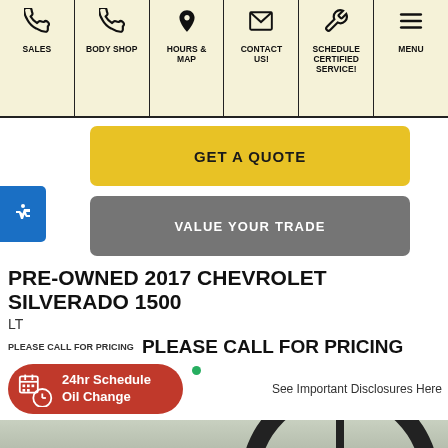[Figure (screenshot): Navigation bar with icons for SALES, BODY SHOP, HOURS & MAP, CONTACT US!, SCHEDULE CERTIFIED SERVICE!, MENU on a cream/yellow background]
GET A QUOTE
VALUE YOUR TRADE
PRE-OWNED 2017 CHEVROLET SILVERADO 1500
LT
PLEASE CALL FOR PRICING  PLEASE CALL FOR PRICING
See Important Disclosures Here
24hr Schedule Oil Change